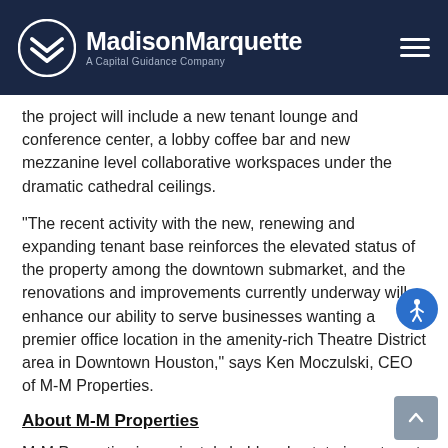MadisonMarquette — A Capital Guidance Company
the project will include a new tenant lounge and conference center, a lobby coffee bar and new mezzanine level collaborative workspaces under the dramatic cathedral ceilings.
“The recent activity with the new, renewing and expanding tenant base reinforces the elevated status of the property among the downtown submarket, and the renovations and improvements currently underway will enhance our ability to serve businesses wanting a premier office location in the amenity-rich Theatre District area in Downtown Houston,” says Ken Moczulski, CEO of M-M Properties.
About M-M Properties
M-M Properties is a privately held real estate investment firm that seeks to provide exceptional risk-adjusted returns to its investors through superior execution of